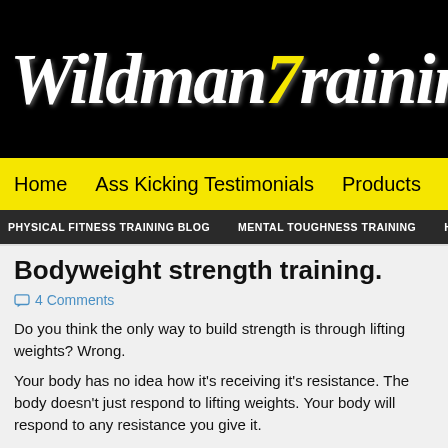Wildman Training
Home  Ass Kicking Testimonials  Products  Videos
PHYSICAL FITNESS TRAINING BLOG  MENTAL TOUGHNESS TRAINING  HARS
Bodyweight strength training.
4 Comments
Do you think the only way to build strength is through lifting weights? Wrong.
Your body has no idea how it's receiving it's resistance. The body doesn't just respond to lifting weights. Your body will respond to any resistance you give it.
Just because you lift weights doesn't mean you will get huge freaky muscles. You can build muscle from any type of resistance. But to put on the size takes more then just pushing around heavy iron. It takes extra calories, it takes a lot of rest, it takes supplements.